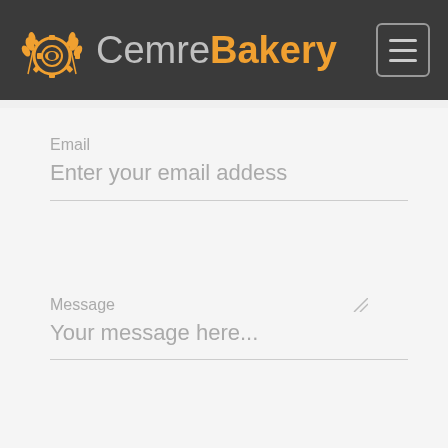CemreBakery
Email
Enter your email addess
Message
Your message here...